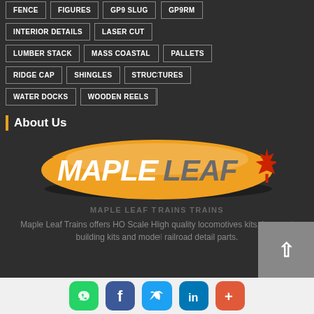FENCE
FIGURES
GP9 SLUG
GP9RM
INTERIOR DETAILS
LASER CUT
LUMBER STACK
MASS COASTAL
PALLETS
RIDGE CAP
SHINGLES
STRUCTURES
WATER DOCKS
WOODEN REELS
About Us
[Figure (logo): Maple Leaf Trains oval logo — orange ellipse with white MAPLE and grey LEAF text plus a red maple leaf icon]
MAPLE LEAF TRAINS TRAINS
Maple Leaf Trains offers HO Scale High quality locomotives kits, laser cut building kits and model railroad detail parts.